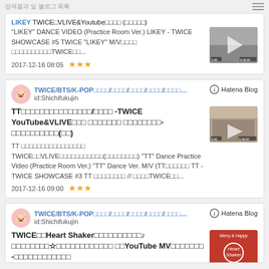Search results / blog listing
LIKEY TWICE VLIVE&Youtube (日本語) "LIKEY" DANCE VIDEO (Practice Room Ver.) LIKEY - TWICE SHOWCASE #5 TWICE "LIKEY" M/V TWICE... 2017-12-16 08:05 ★★★
TWICE/BTS/K-POP id:Shichifukujin TT/TWICE YouTube&VLIVE TT Dance Practice Video (Practice Room Ver.) "TT" Dance Ver. M/V TT - TWICE SHOWCASE #3 TT // TWICE... 2017-12-16 09:00 ★★★
TWICE/BTS/K-POP id:Shichifukujin TWICE Heart Shaker♪ ☆ YouTube MV TWICE Heart Shaker MV NEW Feel Special ♪ Brea